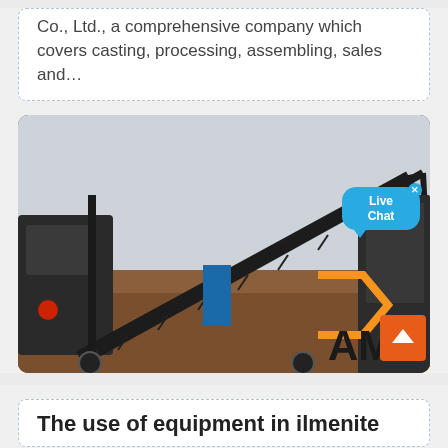Co., Ltd., a comprehensive company which covers casting, processing, assembling, sales and…
[Figure (photo): Industrial mobile conveyor and crushing equipment on a construction/mining site. Heavy machinery with large steel conveyor belts and a crane structure visible. Orange brand logo partially visible bottom right. Live Chat bubble overlay top right, scroll-to-top orange button bottom right.]
The use of equipment in ilmenite